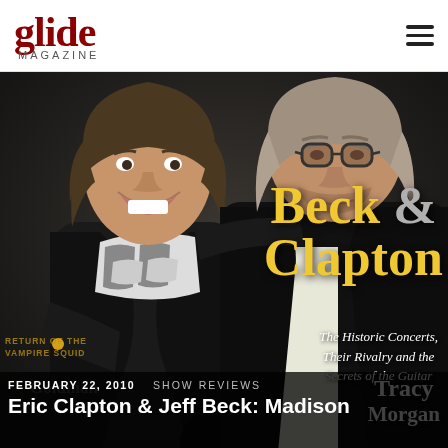glide MAGAZINE
[Figure (photo): Two men (Jeff Beck and Eric Clapton) posing together. Jeff Beck on left wearing zebra-print scarf, Eric Clapton on right wearing black blazer with glasses. Dark background.]
Beck & Clapton
The Historic Concerts, Their Rivalry and the Secrets of the Guitar
RETURN OF THE VAMPIRE SQUID
FEBRUARY 22, 2010
SHOW REVIEWS
Eric Clapton & Jeff Beck: Madison
Tracy Morgan